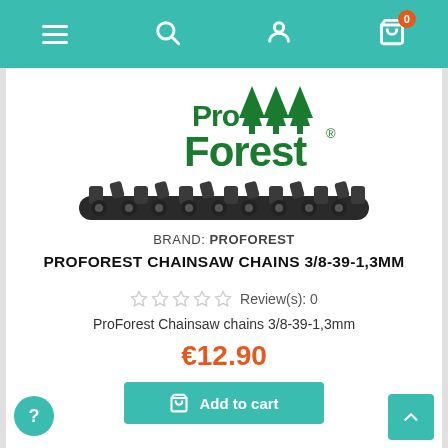Navigation bar with hamburger menu, search, user account, and cart (0 items)
[Figure (photo): ProForest brand logo with green tree icons above a chainsaw chain product photo on white background]
BRAND: PROFOREST
PROFOREST CHAINSAW CHAINS 3/8-39-1,3MM
☆☆☆☆☆ Review(s): 0
ProForest Chainsaw chains 3/8-39-1,3mm
€12.90
Add to cart